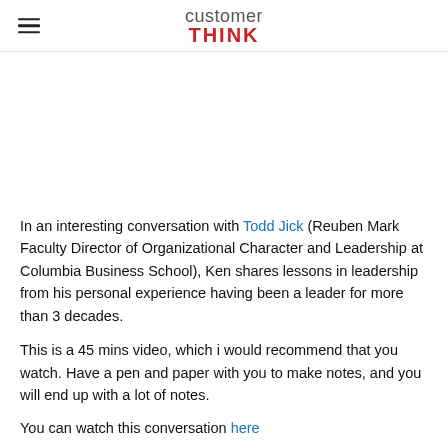customer THINK
[Figure (other): Advertisement or blank area below header]
In an interesting conversation with Todd Jick (Reuben Mark Faculty Director of Organizational Character and Leadership at Columbia Business School), Ken shares lessons in leadership from his personal experience having been a leader for more than 3 decades.
This is a 45 mins video, which i would recommend that you watch. Have a pen and paper with you to make notes, and you will end up with a lot of notes.
You can watch this conversation here